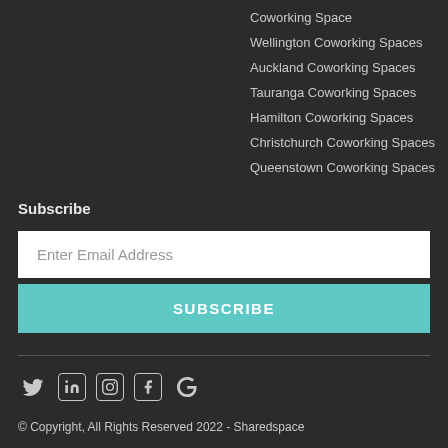Coworking Space
Wellington Coworking Spaces
Auckland Coworking Spaces
Tauranga Coworking Spaces
Hamilton Coworking Spaces
Christchurch Coworking Spaces
Queenstown Coworking Spaces
Subscribe
Enter Email Address
SUBSCRIBE
[Figure (other): Social media icons: Twitter, LinkedIn, Instagram, Facebook, Google]
© Copyright, All Rights Reserved 2022 - Sharedspace